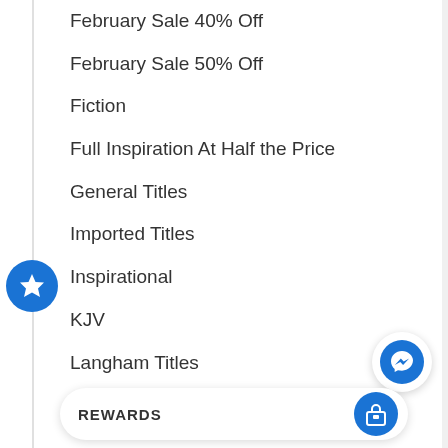February Sale 40% Off
February Sale 50% Off
Fiction
Full Inspiration At Half the Price
General Titles
Imported Titles
Inspirational
KJV
Langham Titles
Local Author Sale 20% off